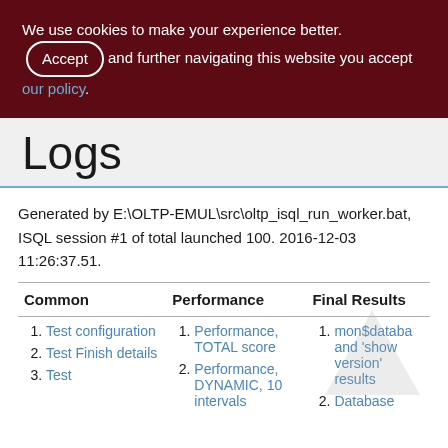We use cookies to make your experience better. By accepting and further navigating this website you accept our policy.
Logs
Generated by E:\OLTP-EMUL\src\oltp_isql_run_worker.bat, ISQL session #1 of total launched 100. 2016-12-03 11:26:37.51.
| Common | Performance | Final Results |
| --- | --- | --- |
| 1. Test configuration
2. Test Finish details
3. Test | 1. Performance, TOTAL score
2. Performance, DYNAMIC, 10 intervals | 1. mon$database and 'show version' results
2. Database |